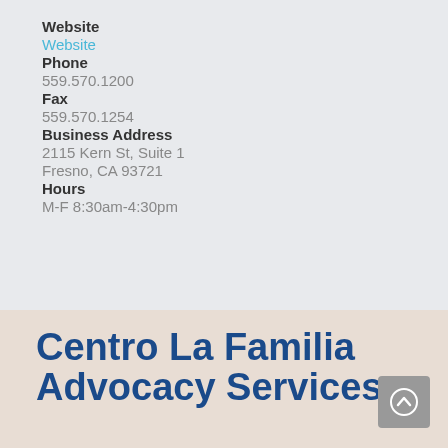Website
Website
Phone
559.570.1200
Fax
559.570.1254
Business Address
2115 Kern St, Suite 1
Fresno, CA 93721
Hours
M-F 8:30am-4:30pm
Centro La Familia Advocacy Services